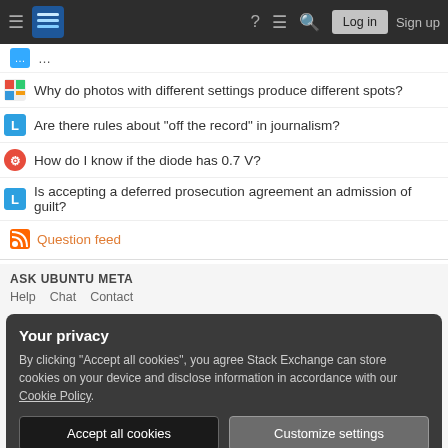Stack Exchange navigation bar with Log in and Sign up buttons
Why do photos with different settings produce different spots?
Are there rules about "off the record" in journalism?
How do I know if the diode has 0.7 V?
Is accepting a deferred prosecution agreement an admission of guilt?
Question feed
ASK UBUNTU META
Help   Chat   Contact
Your privacy
By clicking "Accept all cookies", you agree Stack Exchange can store cookies on your device and disclose information in accordance with our Cookie Policy.
Accept all cookies   Customize settings
Business   API   Data